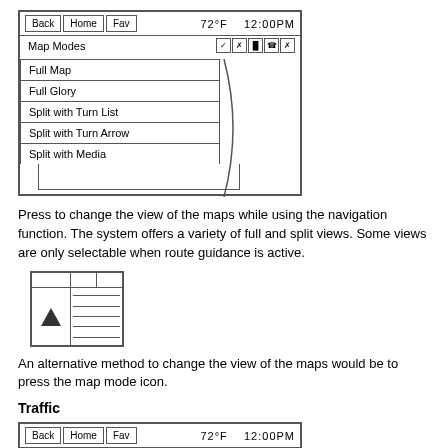[Figure (screenshot): Navigation system screen showing Map Modes menu with options: Full Map, Full Glory, Split with Turn List, Split with Turn Arrow, Split with Media. Header shows Back, Home, Fav buttons and 72°F 12:00PM.]
Press to change the view of the maps while using the navigation function. The system offers a variety of full and split views. Some views are only selectable when route guidance is active.
[Figure (screenshot): Icon showing split screen view with navigation arrow on left and list items on right.]
An alternative method to change the view of the maps would be to press the map mode icon.
Traffic
[Figure (screenshot): Navigation system screen showing Traffic Menu header with Back, Home, Fav buttons and 72°F 12:00PM.]